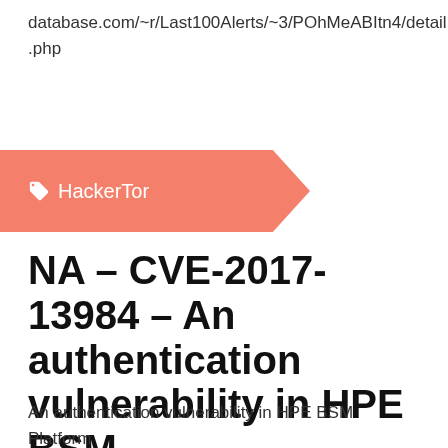database.com/~r/Last100Alerts/~3/POhMeABItn4/detail.php
HackerTor
NA – CVE-2017-13984 – An authentication vulnerability in HPE BSM...
An authentication vulnerability in HPE BSM Platform Application Performance Management System Health